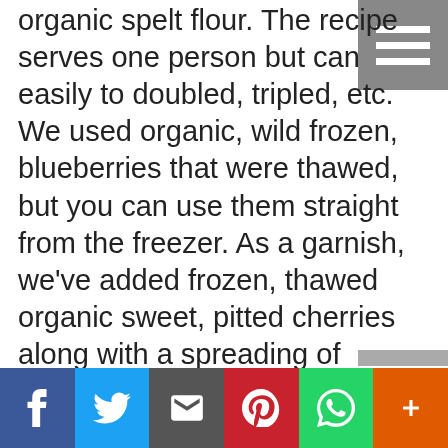organic spelt flour. The recipe serves one person but can easily to doubled, tripled, etc. We used organic, wild frozen, blueberries that were thawed, but you can use them straight from the freezer. As a garnish, we've added frozen, thawed organic sweet, pitted cherries along with a spreading of sesame tahini and some maple syrup. To make your own tahini, check out our recipe at https://blog.pureindianfoods.com/recipe/homemade-sesame-tahini/
[Figure (other): Menu/hamburger icon button in top-right corner, grey background with three white horizontal bars]
[Figure (other): Social sharing bar at bottom with Facebook, Twitter, Email, Pinterest, WhatsApp, and Plus buttons]